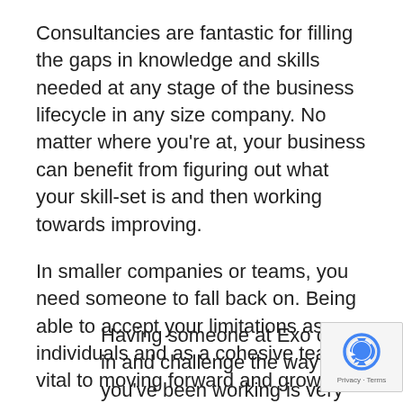Consultancies are fantastic for filling the gaps in knowledge and skills needed at any stage of the business lifecycle in any size company. No matter where you're at, your business can benefit from figuring out what your skill-set is and then working towards improving.
In smaller companies or teams, you need someone to fall back on. Being able to accept your limitations as individuals and as a cohesive team is vital to moving forward and growing.
Having someone at Exo come in and challenge the way you've been working is very valuable. Even if you were doing